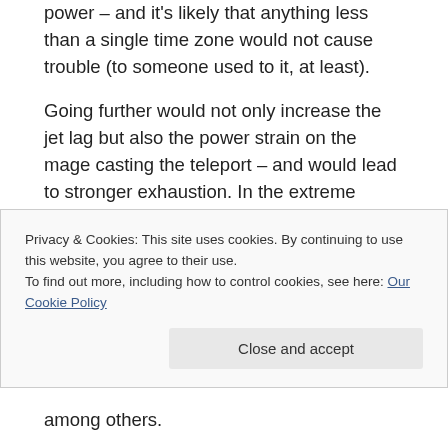power – and it's likely that anything less than a single time zone would not cause trouble (to someone used to it, at least).
Going further would not only increase the jet lag but also the power strain on the mage casting the teleport – and would lead to stronger exhaustion. In the extreme cases, it could drain the mage so much he'd be knocked out and sleep for hours before his body would recover, thus somewhat dulling the fact what he/she sees doesn't match his/her inner clock.
Privacy & Cookies: This site uses cookies. By continuing to use this website, you agree to their use.
To find out more, including how to control cookies, see here: Our Cookie Policy
among others.